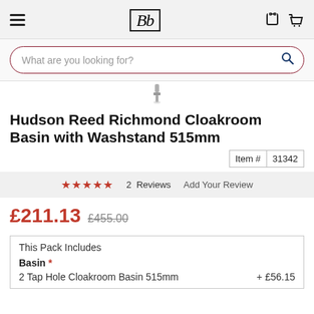Bb
What are you looking for?
Hudson Reed Richmond Cloakroom Basin with Washstand 515mm
Item # 31342
★★★★★ 2 Reviews   Add Your Review
£211.13  £455.00
This Pack Includes
Basin *
2 Tap Hole Cloakroom Basin 515mm  + £56.15